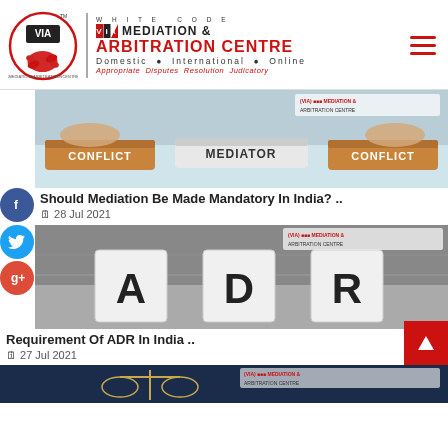[Figure (logo): White Code VIA Mediation & Arbitration Centre logo with circular handshake emblem and text]
[Figure (photo): Photo of hands pushing wooden blocks labeled CONFLICT and MEDIATOR on a table, with VIA Mediation logo watermark]
Should Mediation Be Made Mandatory In India? ..
28 Jul 2021
[Figure (photo): Black and white photo of wooden letter blocks spelling ADR on a metallic surface, with VIA Mediation logo watermark]
Requirement Of ADR In India ..
27 Jul 2021
[Figure (photo): Partial photo of scales of justice on dark background]